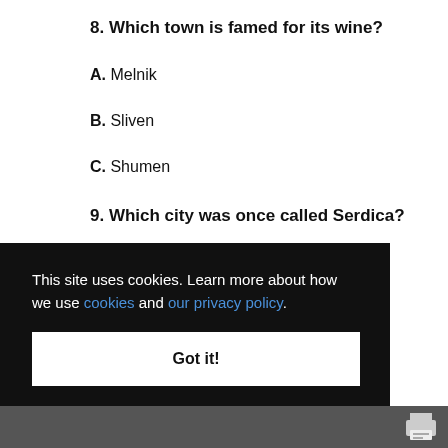8. Which town is famed for its wine?
A. Melnik
B. Sliven
C. Shumen
9. Which city was once called Serdica?
This site uses cookies. Learn more about how we use cookies and our privacy policy.
Got it!